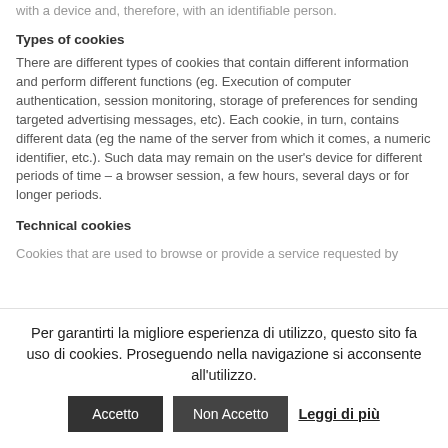with a device and, therefore, with an identifiable person.
Types of cookies
There are different types of cookies that contain different information and perform different functions (eg. Execution of computer authentication, session monitoring, storage of preferences for sending targeted advertising messages, etc). Each cookie, in turn, contains different data (eg the name of the server from which it comes, a numeric identifier, etc.). Such data may remain on the user's device for different periods of time – a browser session, a few hours, several days or for longer periods.
Technical cookies
Cookies that are used to browse or provide a service requested by
Per garantirti la migliore esperienza di utilizzo, questo sito fa uso di cookies. Proseguendo nella navigazione si acconsente all'utilizzo. Accetto Non Accetto Leggi di più